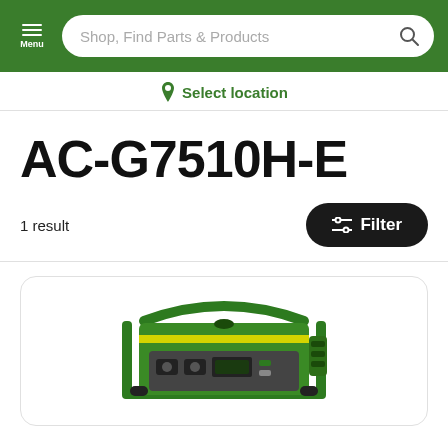Menu | Shop, Find Parts & Products
Select location
AC-G7510H-E
1 result
Filter
[Figure (photo): Green portable generator (AC-G7510H-E model) with green metal frame, control panel with outlets and switches, shown on a white background inside a product card]